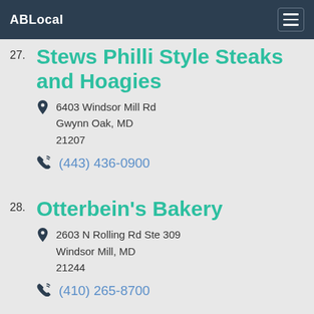ABLocal
27. Stews Philli Style Steaks and Hoagies
6403 Windsor Mill Rd Gwynn Oak, MD 21207
(443) 436-0900
28. Otterbein's Bakery
2603 N Rolling Rd Ste 309 Windsor Mill, MD 21244
(410) 265-8700